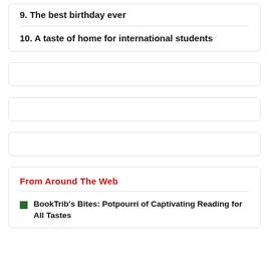9. The best birthday ever
10. A taste of home for international students
From Around The Web
BookTrib's Bites: Potpourri of Captivating Reading for All Tastes